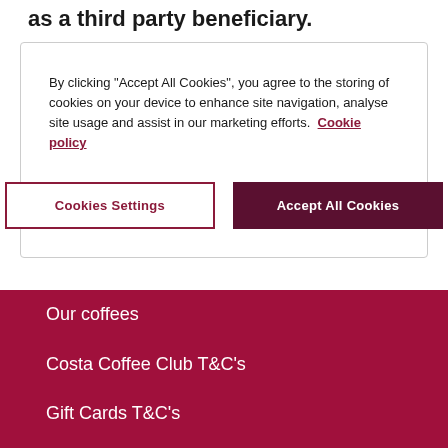as a third party beneficiary.
By clicking "Accept All Cookies", you agree to the storing of cookies on your device to enhance site navigation, analyse site usage and assist in our marketing efforts. Cookie policy
Cookies Settings
Accept All Cookies
Our coffees
Costa Coffee Club T&C's
Gift Cards T&C's
Dietary Information
Detailed dietary information